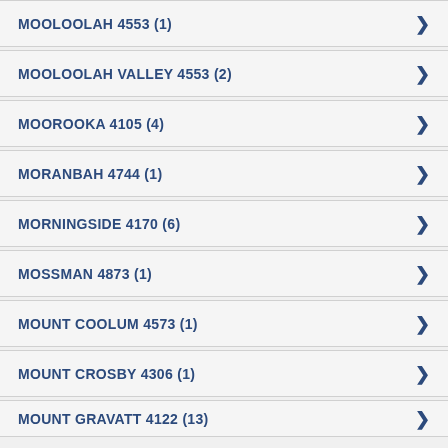MOOLOOLAH  4553 (1)
MOOLOOLAH VALLEY  4553 (2)
MOOROOKA  4105 (4)
MORANBAH  4744 (1)
MORNINGSIDE  4170 (6)
MOSSMAN  4873 (1)
MOUNT COOLUM  4573 (1)
MOUNT CROSBY  4306 (1)
MOUNT GRAVATT  4122 (13)